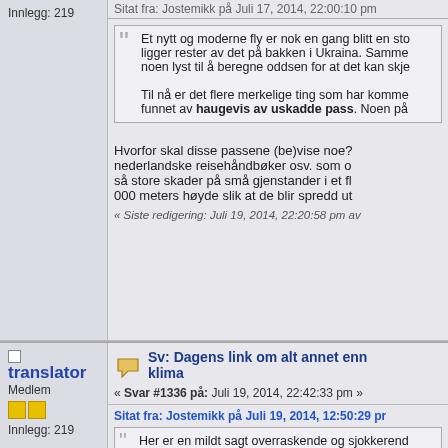Innlegg: 219
Sitat fra: Jostemikk på Juli 17, 2014, 22:00:10 pm
Et nytt og moderne fly er nok en gang blitt en sto... ligger rester av det på bakken i Ukraina. Samme... noen lyst til å beregne oddsen for at det kan skje...
Til nå er det flere merkelige ting som har komme... funnet av haugevis av uskadde pass. Noen på...
Hvorfor skal disse passene (be)vise noe? nederlandske reisehåndbøker osv. som o... så store skader på små gjenstander i et fl... 000 meters høyde slik at de blir spredd ut...
« Siste redigering: Juli 19, 2014, 22:20:58 pm av
translator
Medlem
Innlegg: 219
Sv: Dagens link om alt annet enn klima
« Svar #1336 på: Juli 19, 2014, 22:42:33 pm »
Sitat fra: Jostemikk på Juli 19, 2014, 12:50:29 pm
Her er en mildt sagt overraskende og sjokkerend...
http://abcnews.go.com/International/wireStory/re...
[attachimg=2]